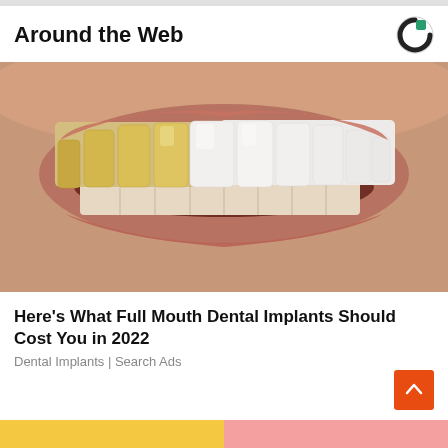Around the Web
[Figure (photo): Close-up photo of a person's smile showing a before-and-after dental implant comparison: left side shows yellowed/stained natural teeth, right side shows bright white dental veneers/implants]
Here's What Full Mouth Dental Implants Should Cost You in 2022
Dental Implants | Search Ads